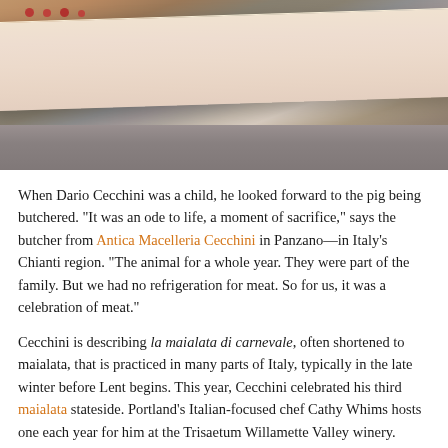[Figure (photo): Close-up photo of what appears to be a large slab of cured meat or lard, pale pink/cream colored, with small red spice dots visible at the top. The slab rests on a reflective surface.]
When Dario Cecchini was a child, he looked forward to the pig being butchered. "It was an ode to life, a moment of sacrifice," says the butcher from Antica Macelleria Cecchini in Panzano—in Italy's Chianti region. "The animal for a whole year. They were part of the family. But we had no refrigeration for meat. So for us, it was a celebration of meat."
Cecchini is describing la maialata di carnevale, often shortened to maialata, that is practiced in many parts of Italy, typically in the late winter before Lent begins. This year, Cecchini celebrated his third maialata stateside. Portland's Italian-focused chef Cathy Whims hosts one each year for him at the Trisaetum Willamette Valley winery.
Traditionally during maialata in Italy, family would arrive to help participate in the slaughter and butchering of a fattened pig. (Family